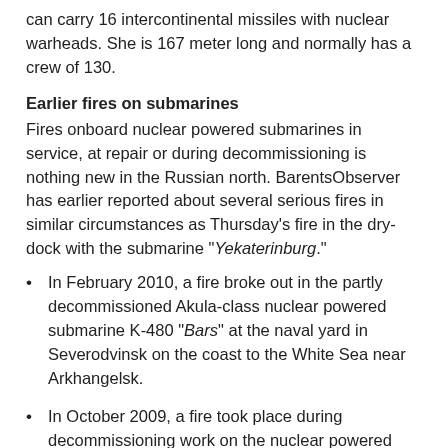can carry 16 intercontinental missiles with nuclear warheads. She is 167 meter long and normally has a crew of 130.
Earlier fires on submarines
Fires onboard nuclear powered submarines in service, at repair or during decommissioning is nothing new in the Russian north. BarentsObserver has earlier reported about several serious fires in similar circumstances as Thursday's fire in the dry-dock with the submarine "Yekaterinburg."
In February 2010, a fire broke out in the partly decommissioned Akula-class nuclear powered submarine K-480 "Bars" at the naval yard in Severodvinsk on the coast to the White Sea near Arkhangelsk.
In October 2009, a fire took place during decommissioning work on the nuclear powered submarine Kazan at the yard in Severodvinsk. "Kazan" was a rebuilt Yankee-class submarine used for special purposes.